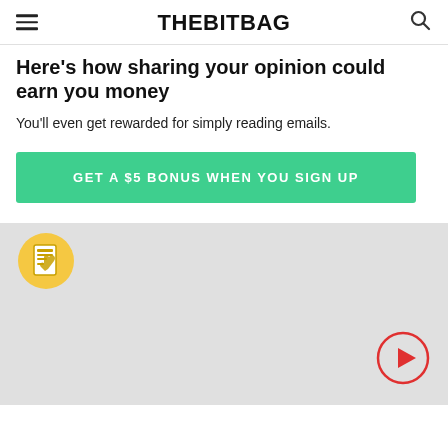THEBITBAG
Here’s how sharing your opinion could earn you money
You’ll even get rewarded for simply reading emails.
GET A $5 BONUS WHEN YOU SIGN UP
[Figure (screenshot): Video thumbnail placeholder with a yellow circle icon showing a survey/remote control graphic at top-left, a grey background area, and a red play button circle at bottom-right]